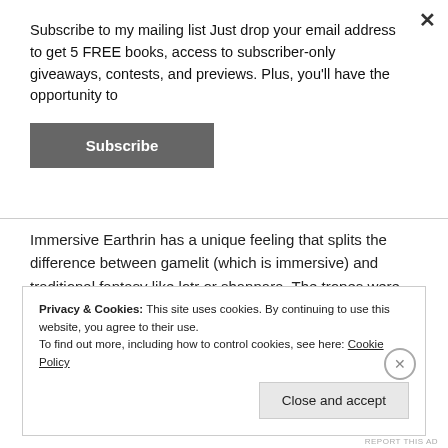Subscribe to my mailing list Just drop your email address to get 5 FREE books, access to subscriber-only giveaways, contests, and previews. Plus, you'll have the opportunity to
Subscribe
Immersive Earthrin has a unique feeling that splits the difference between gamelit (which is immersive) and traditional fantasy like lotr or shannara. The tropes were great and familiar for fantasy coming of age tales like Dragon and on...
Privacy & Cookies: This site uses cookies. By continuing to use this website, you agree to their use.
To find out more, including how to control cookies, see here: Cookie Policy
Close and accept